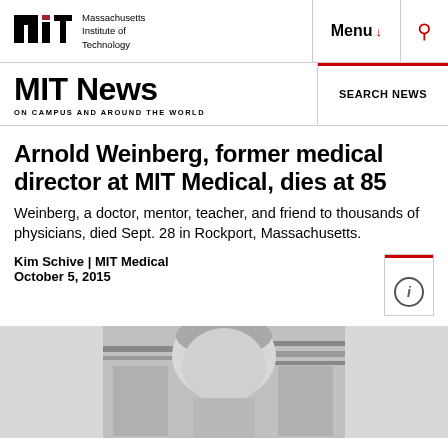[Figure (logo): MIT logo with text Massachusetts Institute of Technology and navigation menu/search icons]
MIT News ON CAMPUS AND AROUND THE WORLD | SEARCH NEWS
Arnold Weinberg, former medical director at MIT Medical, dies at 85
Weinberg, a doctor, mentor, teacher, and friend to thousands of physicians, died Sept. 28 in Rockport, Massachusetts.
Kim Schive | MIT Medical
October 5, 2015
[Figure (photo): Black and white photograph of Arnold Weinberg, an elderly man, head visible from above]